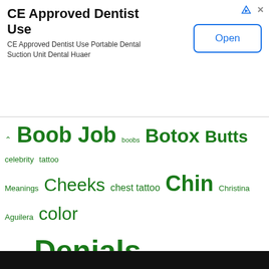[Figure (infographic): Advertisement banner: CE Approved Dentist Use with Open button]
[Figure (infographic): Tag cloud of celebrity plastic surgery and tattoo related keywords in various green font sizes]